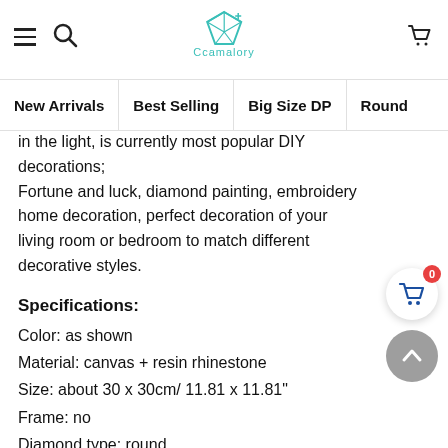Ccamalory (logo/navigation header)
New Arrivals | Best Selling | Big Size DP | Round
in the light, is currently most popular DIY decorations; Fortune and luck, diamond painting, embroidery home decoration, perfect decoration of your living room or bedroom to match different decorative styles.
Specifications:
Color: as shown
Material: canvas + resin rhinestone
Size: about 30 x 30cm/ 11.81 x 11.81"
Frame: no
Diamond type: round